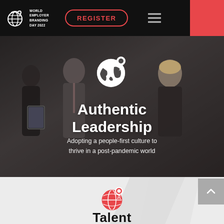World Employer Branding Day 2022 | REGISTER
[Figure (screenshot): Website screenshot showing World Employer Branding Day 2022 page with Authentic Leadership section and a hero image of business professionals]
Authentic Leadership
Adopting a people-first culture to thrive in a post-pandemic world
Talent